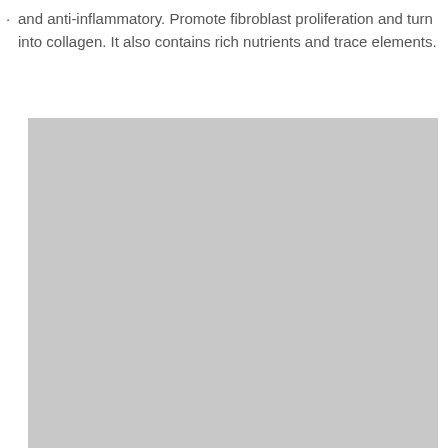and anti-inflammatory. Promote fibroblast proliferation and turn into collagen. It also contains rich nutrients and trace elements.
[Figure (photo): A large gray placeholder image occupying the lower portion of the page, representing a medical or scientific photograph.]